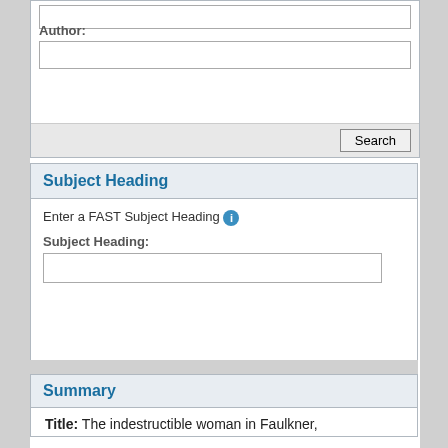Author:
Enter a FAST Subject Heading
Subject Heading
Subject Heading:
Summary
Title: The indestructible woman in Faulkner,